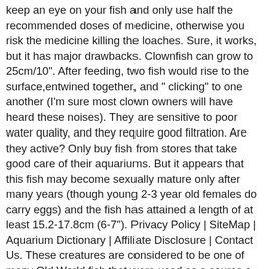keep an eye on your fish and only use half the recommended doses of medicine, otherwise you risk the medicine killing the loaches. Sure, it works, but it has major drawbacks. Clownfish can grow to 25cm/10". After feeding, two fish would rise to the surface,entwined together, and " clicking" to one another (I'm sure most clown owners will have heard these noises). They are sensitive to poor water quality, and they require good filtration. Are they active? Only buy fish from stores that take good care of their aquariums. But it appears that this fish may become sexually mature only after many years (though young 2-3 year old females do carry eggs) and the fish has attained a length of at least 15.2-17.8cm (6-7"). Privacy Policy | SiteMap | Aquarium Dictionary | Affiliate Disclosure | Contact Us. These creatures are considered to be one of many Old World fish that were used as a source o… Clown loach (Chromobotia macracanthus, earlier named Botia macracanthus) was first described in 1852. Whether you know them as clown loaches or tiger botia, the orange-and-black bottom-dwellers make popular additions to any community aquarium in need of color